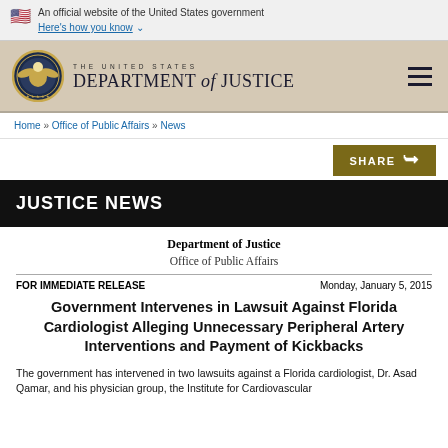An official website of the United States government Here's how you know
[Figure (logo): United States Department of Justice seal and wordmark with hamburger menu]
Home » Office of Public Affairs » News
SHARE
JUSTICE NEWS
Department of Justice
Office of Public Affairs
FOR IMMEDIATE RELEASE   Monday, January 5, 2015
Government Intervenes in Lawsuit Against Florida Cardiologist Alleging Unnecessary Peripheral Artery Interventions and Payment of Kickbacks
The government has intervened in two lawsuits against a Florida cardiologist, Dr. Asad Qamar, and his physician group, the Institute for Cardiovascular